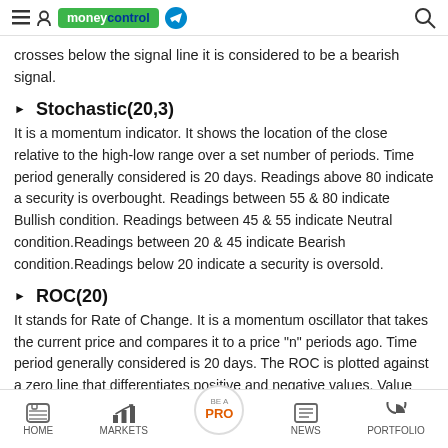moneycontrol
crosses below the signal line it is considered to be a bearish signal.
Stochastic(20,3)
It is a momentum indicator. It shows the location of the close relative to the high-low range over a set number of periods. Time period generally considered is 20 days. Readings above 80 indicate a security is overbought. Readings between 55 & 80 indicate Bullish condition. Readings between 45 & 55 indicate Neutral condition.Readings between 20 & 45 indicate Bearish condition.Readings below 20 indicate a security is oversold.
ROC(20)
It stands for Rate of Change. It is a momentum oscillator that takes the current price and compares it to a price "n" periods ago. Time period generally considered is 20 days. The ROC is plotted against a zero line that differentiates positive and negative values. Value above 0 indicates Bullish condition. Value below 0 indicates
HOME | MARKETS | BE A PRO | NEWS | PORTFOLIO